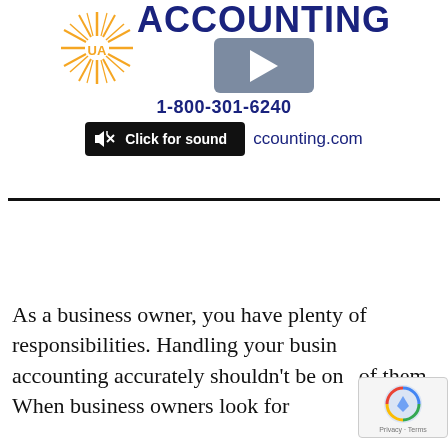[Figure (logo): UA sunburst logo with orange rays and 'UA' text in gold, next to ACCOUNTING title in dark blue and a video play button overlay]
1-800-301-6240
[Figure (screenshot): Black button with muted speaker icon and text 'Click for sound' next to partial URL 'ccounting.com']
As a business owner, you have plenty of responsibilities. Handling your business accounting accurately shouldn't be one of them. When business owners look for